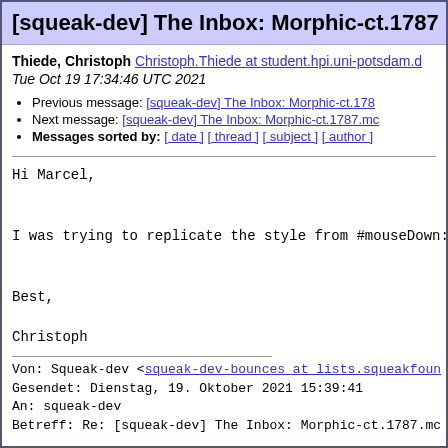[squeak-dev] The Inbox: Morphic-ct.1787
Thiede, Christoph Christoph.Thiede at student.hpi.uni-potsdam.d
Tue Oct 19 17:34:46 UTC 2021
Previous message: [squeak-dev] The Inbox: Morphic-ct.178
Next message: [squeak-dev] The Inbox: Morphic-ct.1787.mc
Messages sorted by: [ date ] [ thread ] [ subject ] [ author ]
Hi Marcel,

I was trying to replicate the style from #mouseDown: &

Best,

Christoph
Von: Squeak-dev <squeak-dev-bounces at lists.squeakfoun
Gesendet: Dienstag, 19. Oktober 2021 15:39:41
An: squeak-dev
Betreff: Re: [squeak-dev] The Inbox: Morphic-ct.1787.mc